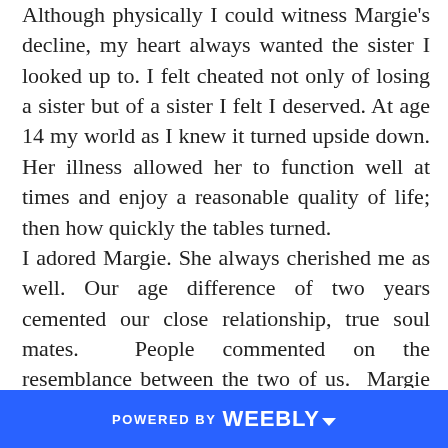Although physically I could witness Margie's decline, my heart always wanted the sister I looked up to. I felt cheated not only of losing a sister but of a sister I felt I deserved. At age 14 my world as I knew it turned upside down. Her illness allowed her to function well at times and enjoy a reasonable quality of life; then how quickly the tables turned.
I adored Margie. She always cherished me as well. Our age difference of two years cemented our close relationship, true soul mates.  People commented on the resemblance between the two of us.  Margie played the guitar and sang with an angelic voice. I admired her intellect. In junior high, she was the shortest member of the cheerleading squad, a great ice skater, and enjoyed playing tennis.
Margie's illness a taboo topic in the 1970's. Not immune to the vicious rumors that spread like wild fire and fingers pointed during school I heard loud
POWERED BY weebly